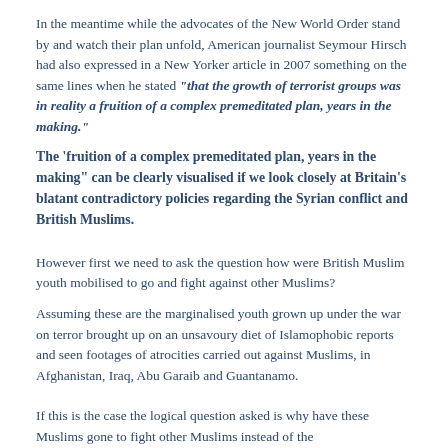In the meantime while the advocates of the New World Order stand by and watch their plan unfold, American journalist Seymour Hirsch had also expressed in a New Yorker article in 2007 something on the same lines when he stated "that the growth of terrorist groups was in reality a fruition of a complex premeditated plan, years in the making."
The 'fruition of a complex premeditated plan, years in the making" can be clearly visualised if we look closely at Britain’s blatant contradictory policies regarding the Syrian conflict and British Muslims.
However first we need to ask the question how were British Muslim youth mobilised to go and fight against other Muslims?
Assuming these are the marginalised youth grown up under the war on terror brought up on an unsavoury diet of Islamophobic reports and seen footages of atrocities carried out against Muslims, in Afghanistan, Iraq, Abu Garaib and Guantanamo.
If this is the case the logical question asked is why have these Muslims gone to fight other Muslims instead of the...